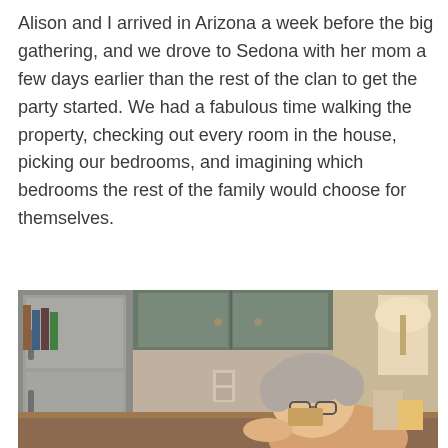Alison and I arrived in Arizona a week before the big gathering, and we drove to Sedona with her mom a few days earlier than the rest of the clan to get the party started. We had a fabulous time walking the property, checking out every room in the house, picking our bedrooms, and imagining which bedrooms the rest of the family would choose for themselves.
[Figure (photo): Interior kitchen photo showing an elderly woman with short gray hair sitting at a counter or table, looking down. Behind her are gray-blue kitchen cabinets, a stainless steel refrigerator, and various items on the counter. A lamp is visible in the upper right.]